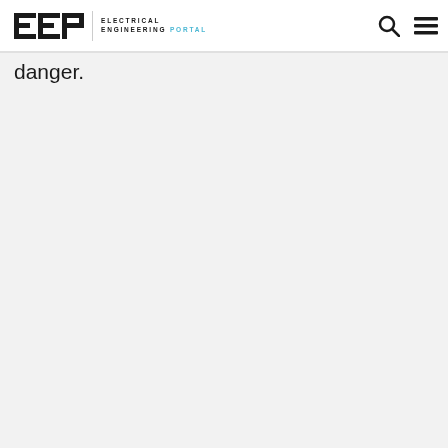EEP | ELECTRICAL ENGINEERING PORTAL
danger.